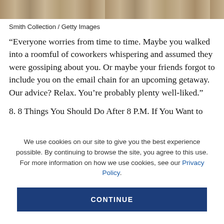[Figure (photo): Partial photo strip at top of page showing people, cropped]
Smith Collection / Getty Images
“Everyone worries from time to time. Maybe you walked into a roomful of coworkers whispering and assumed they were gossiping about you. Or maybe your friends forgot to include you on the email chain for an upcoming getaway. Our advice? Relax. You’re probably plenty well-liked.”
8. 8 Things You Should Do After 8 P.M. If You Want to
We use cookies on our site to give you the best experience possible. By continuing to browse the site, you agree to this use. For more information on how we use cookies, see our Privacy Policy.
CONTINUE